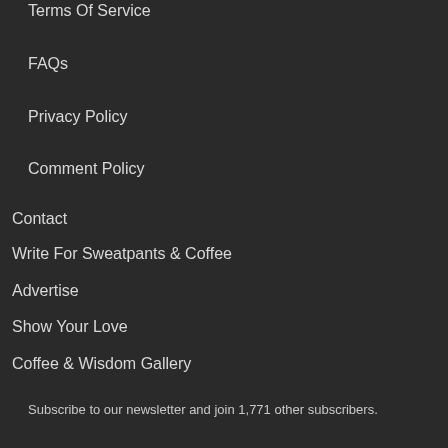Terms Of Service
FAQs
Privacy Policy
Comment Policy
Contact
Write For Sweatpants & Coffee
Advertise
Show Your Love
Coffee & Wisdom Gallery
Subscribe to our newsletter and join 1,771 other subscribers.